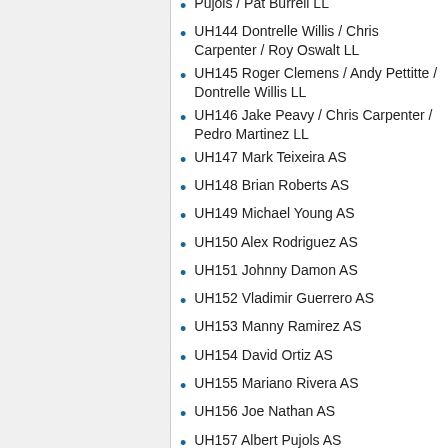Pujols / Pat Burrell LL
UH144 Dontrelle Willis / Chris Carpenter / Roy Oswalt LL
UH145 Roger Clemens / Andy Pettitte / Dontrelle Willis LL
UH146 Jake Peavy / Chris Carpenter / Pedro Martinez LL
UH147 Mark Teixeira AS
UH148 Brian Roberts AS
UH149 Michael Young AS
UH150 Alex Rodriguez AS
UH151 Johnny Damon AS
UH152 Vladimir Guerrero AS
UH153 Manny Ramirez AS
UH154 David Ortiz AS
UH155 Mariano Rivera AS
UH156 Joe Nathan AS
UH157 Albert Pujols AS
UH158 Jeff Kent AS